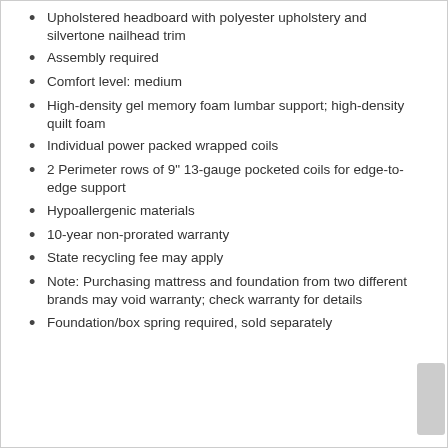Upholstered headboard with polyester upholstery and silvertone nailhead trim
Assembly required
Comfort level: medium
High-density gel memory foam lumbar support; high-density quilt foam
Individual power packed wrapped coils
2 Perimeter rows of 9" 13-gauge pocketed coils for edge-to-edge support
Hypoallergenic materials
10-year non-prorated warranty
State recycling fee may apply
Note: Purchasing mattress and foundation from two different brands may void warranty; check warranty for details
Foundation/box spring required, sold separately